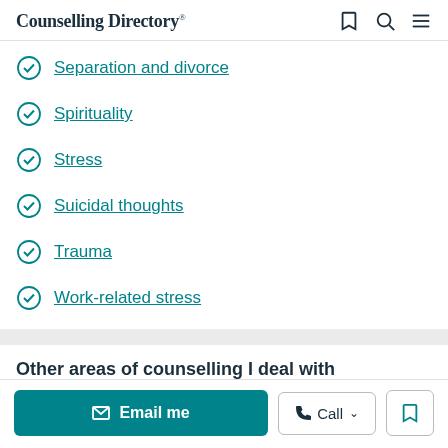Counselling Directory
Separation and divorce
Spirituality
Stress
Suicidal thoughts
Trauma
Work-related stress
Other areas of counselling I deal with
Bereavement by Suicide